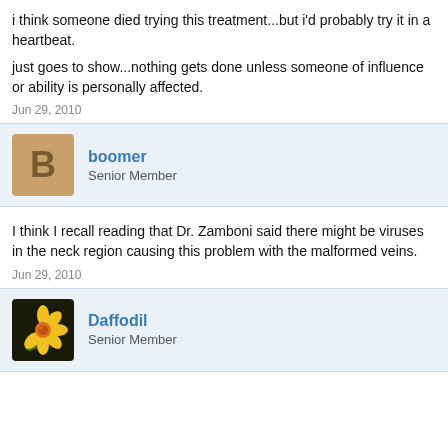i think someone died trying this treatment...but i'd probably try it in a heartbeat.

just goes to show...nothing gets done unless someone of influence or ability is personally affected.
Jun 29, 2010
boomer
Senior Member
I think I recall reading that Dr. Zamboni said there might be viruses in the neck region causing this problem with the malformed veins.
Jun 29, 2010
Daffodil
Senior Member